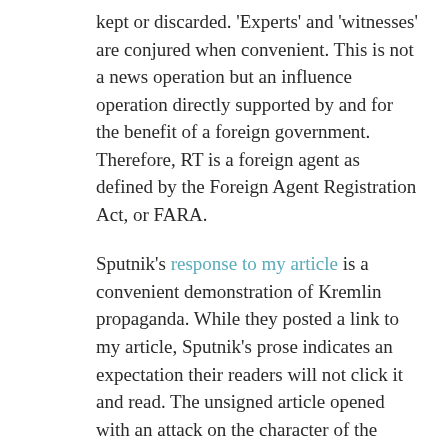kept or discarded. 'Experts' and 'witnesses' are conjured when convenient. This is not a news operation but an influence operation directly supported by and for the benefit of a foreign government. Therefore, RT is a foreign agent as defined by the Foreign Agent Registration Act, or FARA.
Sputnik's response to my article is a convenient demonstration of Kremlin propaganda. While they posted a link to my article, Sputnik's prose indicates an expectation their readers will not click it and read. The unsigned article opened with an attack on the character of the Duma member, recasts the original discussion about 'lobbyist', and declared that I was 'on the